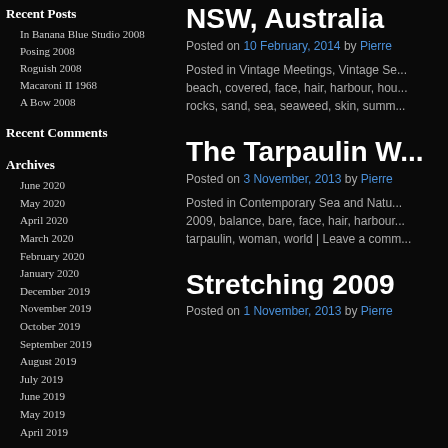Recent Posts
In Banana Blue Studio 2008
Posing 2008
Roguish 2008
Macaroni II 1968
A Bow 2008
Recent Comments
Archives
June 2020
May 2020
April 2020
March 2020
February 2020
January 2020
December 2019
November 2019
October 2019
September 2019
August 2019
July 2019
June 2019
May 2019
April 2019
NSW, Australia
Posted on 10 February, 2014 by Pierre
Posted in Vintage Meetings, Vintage Se... beach, covered, face, hair, harbour, hou... rocks, sand, sea, seaweed, skin, summ...
The Tarpaulin W...
Posted on 3 November, 2013 by Pierre
Posted in Contemporary Sea and Natu... 2009, balance, bare, face, hair, harbour... tarpaulin, woman, world | Leave a comm...
Stretching 2009
Posted on 1 November, 2013 by Pierre